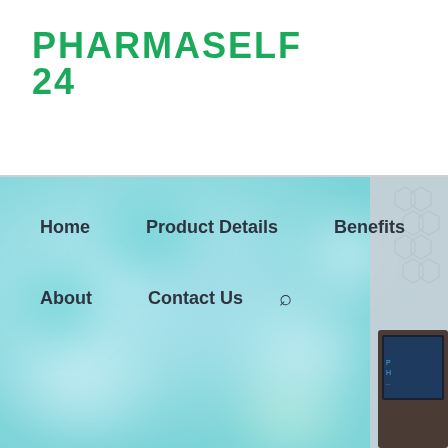[Figure (logo): PharmaSelf 24 logo in green with stylized blocky font, two lines: PHARMASELF on top, 24 below]
[Figure (photo): Background image with blurred teal/turquoise bokeh light effect on the left, and a pharmacy vending machine cabinet visible on the right side]
Home
Product Details
Benefits
Pharmacy Workflow
About
Contact Us